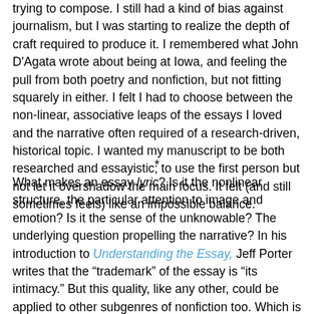trying to compose. I still had a kind of bias against journalism, but I was starting to realize the depth of craft required to produce it. I remembered what John D'Agata wrote about being at Iowa, and feeling the pull from both poetry and nonfiction, but not fitting squarely in either. I felt I had to choose between the non-linear, associative leaps of the essays I loved and the narrative often required of a research-driven, historical topic. I wanted my manuscript to be both researched and essayistic; to use the first person but not let it overshadow the main focus. It felt (and still sometimes feels) like an impossible balance.
*
What makes an essay lyric? Is it the nonlinear structure, the particular attention to image and emotion? Is it the sense of the unknowable? The underlying question propelling the narrative? In his introduction to Understanding the Essay, Jeff Porter writes that the “trademark” of the essay is “its intimacy.” But this quality, like any other, could be applied to other subgenres of nonfiction too. Which is perhaps why John D’Agata, in his forward to We Might As Well Call It The